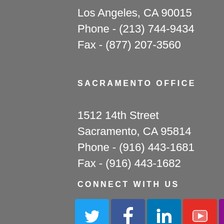Los Angeles, CA 90015
Phone - (213) 744-9434
Fax - (877) 207-3560
SACRAMENTO OFFICE
1512 14th Street
Sacramento, CA 95814
Phone - (916) 443-1681
Fax - (916) 443-1682
CONNECT WITH US
[Figure (infographic): Social media icons row: Twitter (blue), Facebook (dark blue), LinkedIn (blue), YouTube (red), Instagram (purple), RSS (orange)]